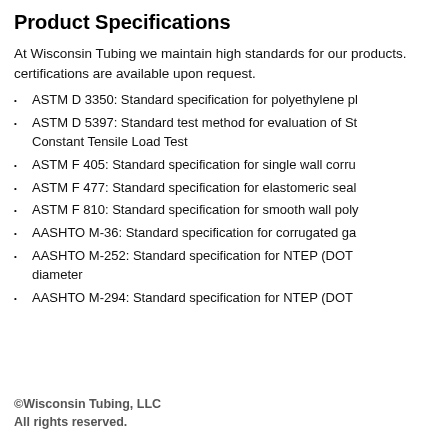Product Specifications
At Wisconsin Tubing we maintain high standards for our products. certifications are available upon request.
ASTM D 3350: Standard specification for polyethylene pl
ASTM D 5397: Standard test method for evaluation of St Constant Tensile Load Test
ASTM F 405: Standard specification for single wall corru
ASTM F 477: Standard specification for elastomeric seal
ASTM F 810: Standard specification for smooth wall poly
AASHTO M-36: Standard specification for corrugated ga
AASHTO M-252: Standard specification for NTEP (DOT diameter
AASHTO M-294: Standard specification for NTEP (DOT
©Wisconsin Tubing, LLC
All rights reserved.